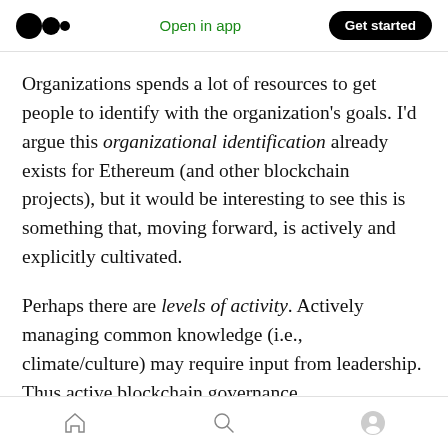Open in app | Get started
Organizations spends a lot of resources to get people to identify with the organization’s goals. I’d argue this organizational identification already exists for Ethereum (and other blockchain projects), but it would be interesting to see this is something that, moving forward, is actively and explicitly cultivated.
Perhaps there are levels of activity. Actively managing common knowledge (i.e., climate/culture) may require input from leadership. Thus active blockchain governance
Home | Search | Profile